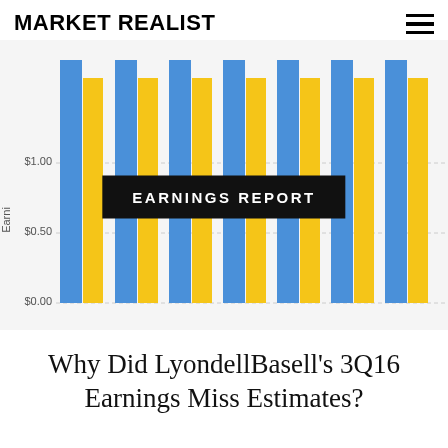MARKET REALIST
[Figure (grouped-bar-chart): Earnings Report]
Why Did LyondellBasell's 3Q16 Earnings Miss Estimates?